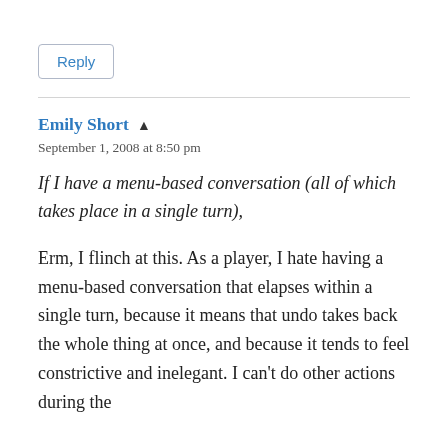Reply
Emily Short ▲
September 1, 2008 at 8:50 pm
If I have a menu-based conversation (all of which takes place in a single turn),
Erm, I flinch at this. As a player, I hate having a menu-based conversation that elapses within a single turn, because it means that undo takes back the whole thing at once, and because it tends to feel constrictive and inelegant. I can't do other actions during the